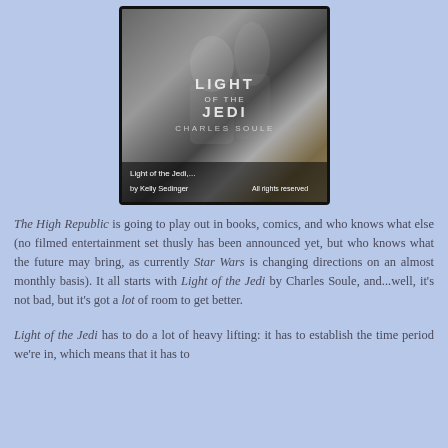[Figure (photo): Photo of a Kindle e-reader displaying the cover of 'Light of the Jedi' by Charles Soule, with caption overlay showing 'Light of the Jedi,... by Kelly Sedinger' and 'All rights reserved']
The High Republic is going to play out in books, comics, and who knows what else (no filmed entertainment set thusly has been announced yet, but who knows what the future may bring, as currently Star Wars is changing directions on an almost monthly basis). It all starts with Light of the Jedi by Charles Soule, and...well, it's not bad, but it's got a lot of room to get better.
Light of the Jedi has to do a lot of heavy lifting: it has to establish the time period we're in, which means that it has to